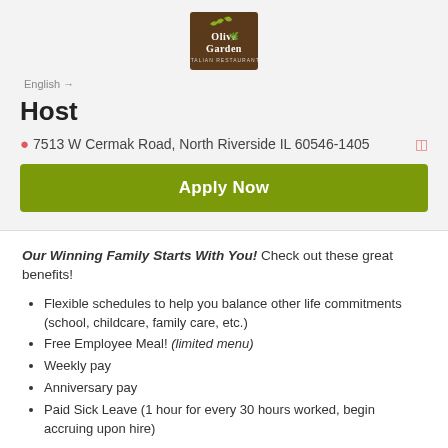[Figure (logo): Olive Garden Italian Restaurant logo — dark brown background with white text and leaf decoration]
English →
Host
7513 W Cermak Road, North Riverside IL 60546-1405
Apply Now
Our Winning Family Starts With You! Check out these great benefits!
Flexible schedules to help you balance other life commitments (school, childcare, family care, etc.)
Free Employee Meal! (limited menu)
Weekly pay
Anniversary pay
Paid Sick Leave (1 hour for every 30 hours worked, begin accruing upon hire)